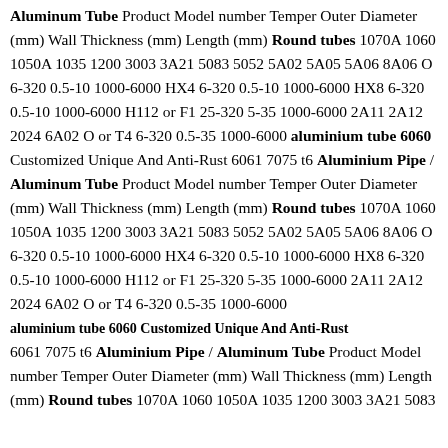Aluminum Tube Product Model number Temper Outer Diameter (mm) Wall Thickness (mm) Length (mm) Round tubes 1070A 1060 1050A 1035 1200 3003 3A21 5083 5052 5A02 5A05 5A06 8A06 O 6-320 0.5-10 1000-6000 HX4 6-320 0.5-10 1000-6000 HX8 6-320 0.5-10 1000-6000 H112 or F1 25-320 5-35 1000-6000 2A11 2A12 2024 6A02 O or T4 6-320 0.5-35 1000-6000 aluminium tube 6060 Customized Unique And Anti-Rust 6061 7075 t6 Aluminium Pipe / Aluminum Tube Product Model number Temper Outer Diameter (mm) Wall Thickness (mm) Length (mm) Round tubes 1070A 1060 1050A 1035 1200 3003 3A21 5083 5052 5A02 5A05 5A06 8A06 O 6-320 0.5-10 1000-6000 HX4 6-320 0.5-10 1000-6000 HX8 6-320 0.5-10 1000-6000 H112 or F1 25-320 5-35 1000-6000 2A11 2A12 2024 6A02 O or T4 6-320 0.5-35 1000-6000 aluminium tube 6060 Customized Unique And Anti-Rust 6061 7075 t6 Aluminium Pipe / Aluminum Tube Product Model number Temper Outer Diameter (mm) Wall Thickness (mm) Length (mm) Round tubes 1070A 1060 1050A 1035 1200 3003 3A21 5083